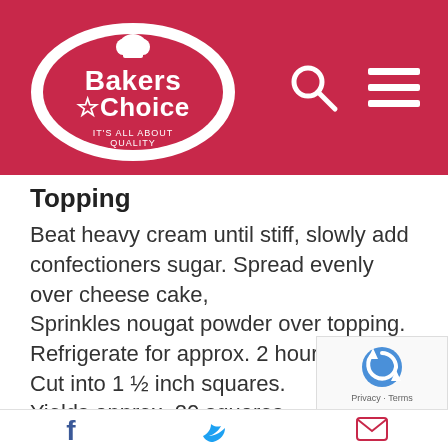Bakers Choice – It's All About Quality
Topping
Beat heavy cream until stiff, slowly add confectioners sugar. Spread evenly over cheese cake,
Sprinkles nougat powder over topping.
Refrigerate for approx. 2 hours
Cut into 1 ½ inch squares.
Yields approx. 20 squares
Garnish:
Place melted chocolate into bag. Cut of the tip of the bag and pipe one inch squares of chocolate on